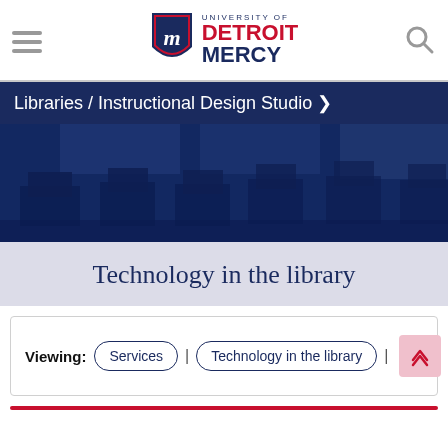University of Detroit Mercy — Libraries / Instructional Design Studio
[Figure (photo): Blue-tinted hero image of a computer lab/library interior with rows of monitors and workstations]
Technology in the library
Viewing: Services | Technology in the library |